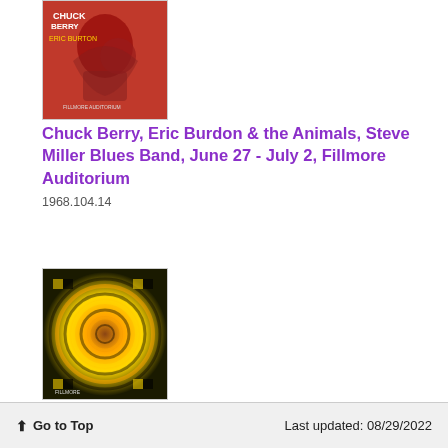[Figure (illustration): Concert poster thumbnail for Chuck Berry, Eric Burdon & the Animals, Steve Miller Blues Band — red background with stylized figures]
Chuck Berry, Eric Burdon & the Animals, Steve Miller Blues Band, June 27 - July 2, Fillmore Auditorium
1968.104.14
[Figure (illustration): Concert poster thumbnail with psychedelic checkerboard spiral pattern in yellow, orange, and black]
↑ Go to Top    Last updated: 08/29/2022